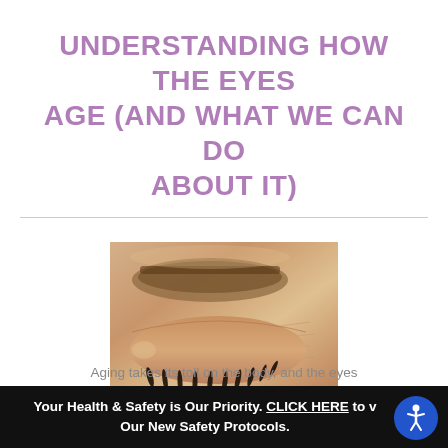UNDERSTANDING HOW THE EYES AGE (AND WHAT WE CAN DO ABOUT IT)
[Figure (photo): Close-up photo of a closed human eye showing the eyelid, eyelashes, and surrounding skin with visible aging texture]
Aging takes its toll on the body, and the eyes
Your Health & Safety is Our Priority. CLICK HERE to view Our New Safety Protocols.